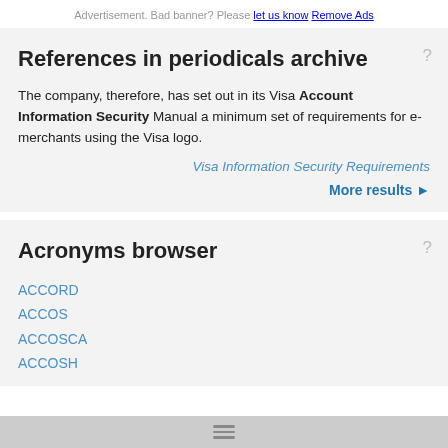Advertisement. Bad banner? Please let us know Remove Ads
References in periodicals archive
The company, therefore, has set out in its Visa Account Information Security Manual a minimum set of requirements for e-merchants using the Visa logo.
Visa Information Security Requirements
More results ▶
Acronyms browser
ACCORD
ACCOS
ACCOSCA
ACCOSH